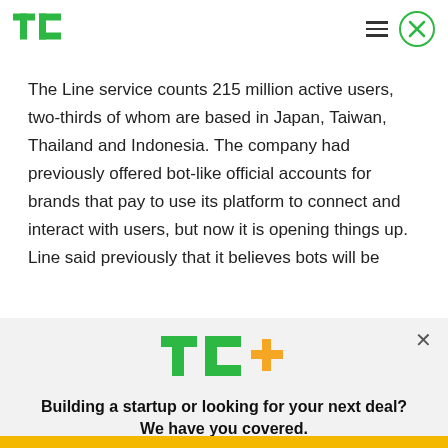TechCrunch logo, hamburger menu, close button
The Line service counts 215 million active users, two-thirds of whom are based in Japan, Taiwan, Thailand and Indonesia. The company had previously offered bot-like official accounts for brands that pay to use its platform to connect and interact with users, but now it is opening things up. Line said previously that it believes bots will be
[Figure (logo): TechCrunch TC+ logo in green with orange plus sign]
Building a startup or looking for your next deal? We have you covered.
EXPLORE NOW